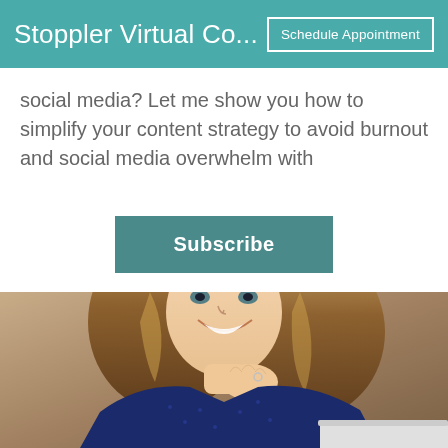Stoppler Virtual Co...
social media? Let me show you how to simplify your content strategy to avoid burnout and social media overwhelm with
[Figure (other): Subscribe button - teal/dark teal rectangular button with white bold text 'Subscribe']
[Figure (photo): Professional headshot photo of a smiling young woman with long wavy blonde-highlighted brown hair, wearing a dark navy blue polka dot blouse, sitting at a laptop in a neutral-toned studio setting, resting her hand near her chin, looking upward and to the side.]